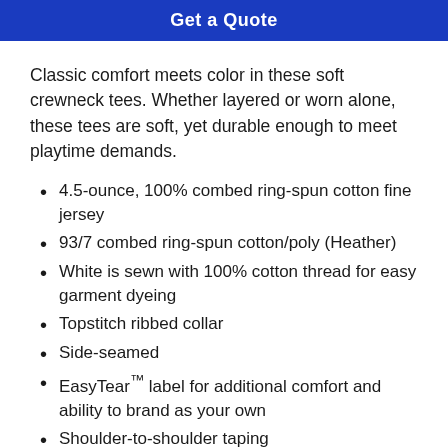Get a Quote
Classic comfort meets color in these soft crewneck tees. Whether layered or worn alone, these tees are soft, yet durable enough to meet playtime demands.
4.5-ounce, 100% combed ring-spun cotton fine jersey
93/7 combed ring-spun cotton/poly (Heather)
White is sewn with 100% cotton thread for easy garment dyeing
Topstitch ribbed collar
Side-seamed
EasyTear™ label for additional comfort and ability to brand as your own
Shoulder-to-shoulder taping
Double-needle sleeves and hem